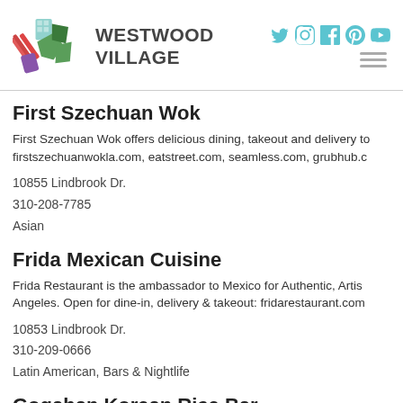Westwood Village
First Szechuan Wok
First Szechuan Wok offers delicious dining, takeout and delivery to firstszechuanwokla.com, eatstreet.com, seamless.com, grubhub.c
10855 Lindbrook Dr.
310-208-7785
Asian
Frida Mexican Cuisine
Frida Restaurant is the ambassador to Mexico for Authentic, Artis Angeles. Open for dine-in, delivery & takeout: fridarestaurant.com
10853 Lindbrook Dr.
310-209-0666
Latin American, Bars & Nightlife
Gogahan Korean Rice Bar